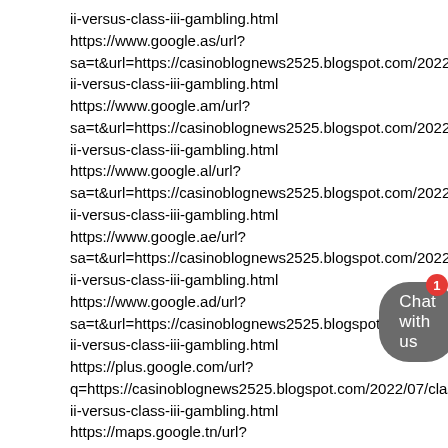ii-versus-class-iii-gambling.html
https://www.google.as/url?
sa=t&url=https://casinoblognews2525.blogspot.com/2022/07/
ii-versus-class-iii-gambling.html
https://www.google.am/url?
sa=t&url=https://casinoblognews2525.blogspot.com/2022/07/
ii-versus-class-iii-gambling.html
https://www.google.al/url?
sa=t&url=https://casinoblognews2525.blogspot.com/2022/07/
ii-versus-class-iii-gambling.html
https://www.google.ae/url?
sa=t&url=https://casinoblognews2525.blogspot.com/2022/07/
ii-versus-class-iii-gambling.html
https://www.google.ad/url?
sa=t&url=https://casinoblognews2525.blogspot.com/2022/07/
ii-versus-class-iii-gambling.html
https://plus.google.com/url?
q=https://casinoblognews2525.blogspot.com/2022/07/class-
ii-versus-class-iii-gambling.html
https://maps.google.tn/url?
sa=t&url=https://casinoblognews2525.blogspot.com/2022/07/
ii-versus-class-iii-gambling.html
[Figure (other): Chat with us button with red notification badge showing number 1]